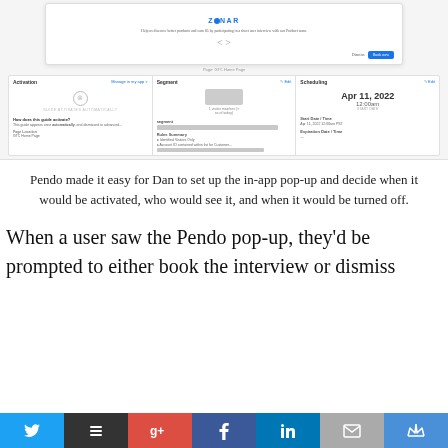[Figure (screenshot): Screenshot of a Pendo in-app pop-up guide from Zonar, showing the guide builder interface with Activation, Segment, and Scheduling panels below. The top shows the Zonar pop-up with dismiss and 'Book now' buttons. Below is the Pendo guide configuration UI with three panels: Activation (showing 'GUIDE ACTIVATES AUTOMATICALLY'), Segment (showing segment count and rules), and Scheduling (showing Apr 11, 2022, 12:00am start date).]
Pendo made it easy for Dan to set up the in-app pop-up and decide when it would be activated, who would see it, and when it would be turned off.
When a user saw the Pendo pop-up, they'd be prompted to either book the interview or dismiss
[Figure (infographic): Social sharing bar with Twitter, Buffer, Google+, Facebook, LinkedIn, Email, and Crown icons]